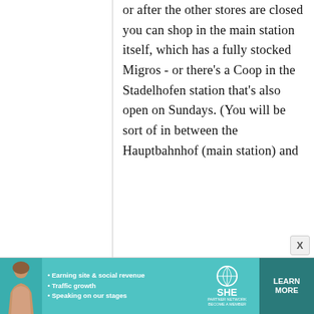or after the other stores are closed you can shop in the main station itself, which has a fully stocked Migros - or there's a Coop in the Stadelhofen station that's also open on Sundays. (You will be sort of in between the Hauptbahnhof (main station) and
[Figure (infographic): Advertisement banner for SHE PARTNER NETWORK. Shows a woman photo on the left, bullet points listing 'Earning site & social revenue', 'Traffic growth', 'Speaking on our stages', the SHE PARTNER NETWORK logo with globe icon, and a teal 'LEARN MORE' button. Also shows 'BECOME A MEMBER' text.]